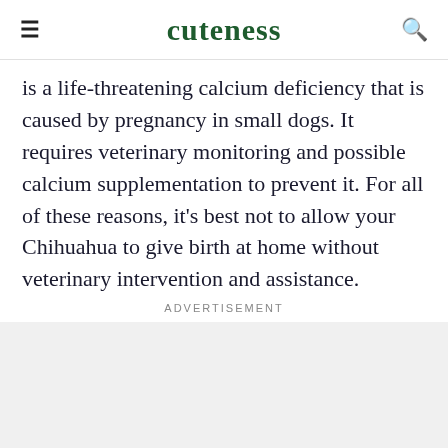cuteness
is a life-threatening calcium deficiency that is caused by pregnancy in small dogs. It requires veterinary monitoring and possible calcium supplementation to prevent it. For all of these reasons, it's best not to allow your Chihuahua to give birth at home without veterinary intervention and assistance.
Advertisement